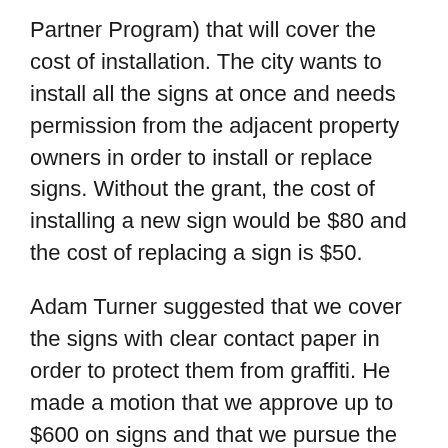Partner Program) that will cover the cost of installation. The city wants to install all the signs at once and needs permission from the adjacent property owners in order to install or replace signs. Without the grant, the cost of installing a new sign would be $80 and the cost of replacing a sign is $50.
Adam Turner suggested that we cover the signs with clear contact paper in order to protect them from graffiti. He made a motion that we approve up to $600 on signs and that we pursue the grant to cover the cost of installation. Victor seconded the motion, and all members voted in favor of the motion. Joshua pointed out that we can re-address the motion if the committee has additional fiscal needs. He also encouraged the committee to make the map of potential signs public so that...